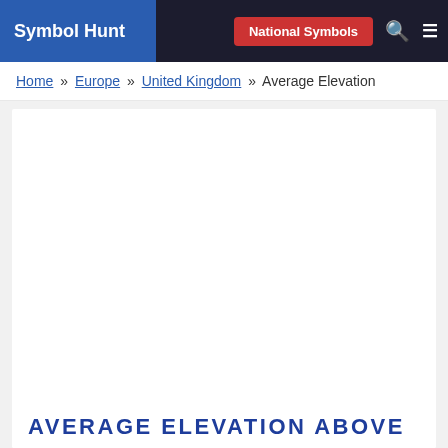Symbol Hunt | National Symbols
Home » Europe » United Kingdom » Average Elevation
[Figure (other): White blank advertisement or content area placeholder]
AVERAGE ELEVATION ABOVE